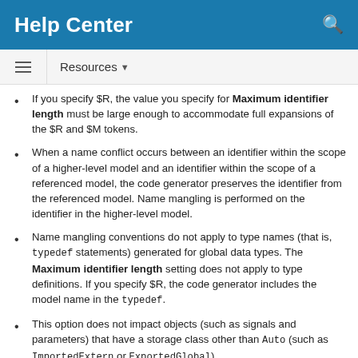Help Center
If you specify $R, the value you specify for Maximum identifier length must be large enough to accommodate full expansions of the $R and $M tokens.
When a name conflict occurs between an identifier within the scope of a higher-level model and an identifier within the scope of a referenced model, the code generator preserves the identifier from the referenced model. Name mangling is performed on the identifier in the higher-level model.
Name mangling conventions do not apply to type names (that is, typedef statements) generated for global data types. The Maximum identifier length setting does not apply to type definitions. If you specify $R, the code generator includes the model name in the typedef.
This option does not impact objects (such as signals and parameters) that have a storage class other than Auto (such as ImportedExtern or ExportedGlobal).
For referenced models, if the Global types parameter does not contain a $R token (which represents the name of the